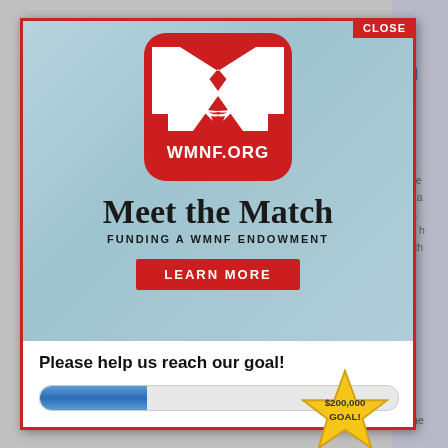[Figure (screenshot): WMNF.org 'Meet the Match - Funding a WMNF Endowment' modal advertisement popup with red rounded square logo, light blue background, 'LEARN MORE' red button, 'Please help us reach our goal!' text, a progress bar approximately 30% filled, and a gold star badge showing '$200,000 GOAL!']
Please help us reach our goal!
$200,000 GOAL!